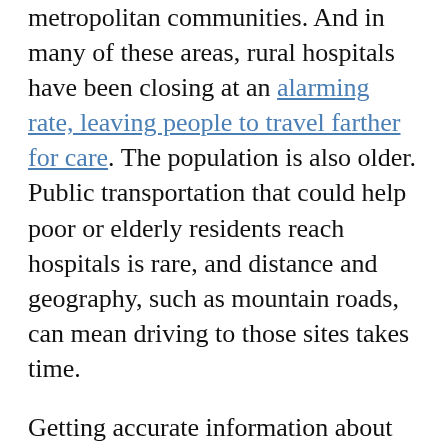metropolitan communities. And in many of these areas, rural hospitals have been closing at an alarming rate, leaving people to travel farther for care. The population is also older. Public transportation that could help poor or elderly residents reach hospitals is rare, and distance and geography, such as mountain roads, can mean driving to those sites takes time.
Getting accurate information about the vaccine and how to receive it into rural areas has also proved difficult. Many rural counties still have limited access to broadband internet connections, smartphone service and other technologies. That often means residents rely on television, newspapers and radio for news, which can limit the depth and scope of information.
While some rural counties have started getting the